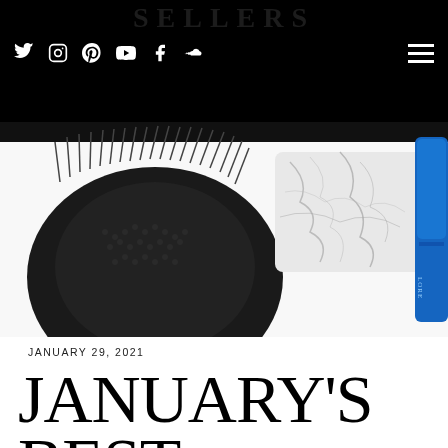SELLERS (site name/logo)
[Figure (photo): Hero product photo showing a black silicone facial cleansing brush on the left, a white marble-patterned silk pillowcase in the center, and a blue bottle/product on the right edge, all on a white background.]
JANUARY 29, 2021
JANUARY'S BEST SELLERS